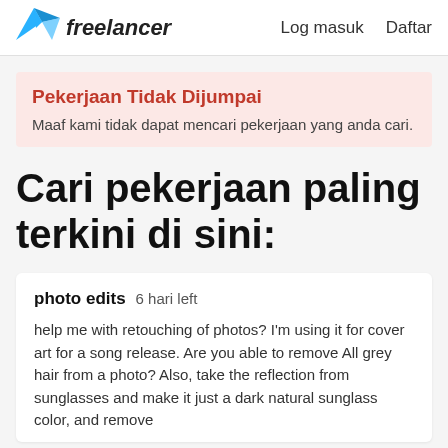freelancer   Log masuk   Daftar
Pekerjaan Tidak Dijumpai
Maaf kami tidak dapat mencari pekerjaan yang anda cari.
Cari pekerjaan paling terkini di sini:
photo edits  6 hari left

help me with retouching of photos? I'm using it for cover art for a song release. Are you able to remove All grey hair from a photo? Also, take the reflection from sunglasses and make it just a dark natural sunglass color, and remove